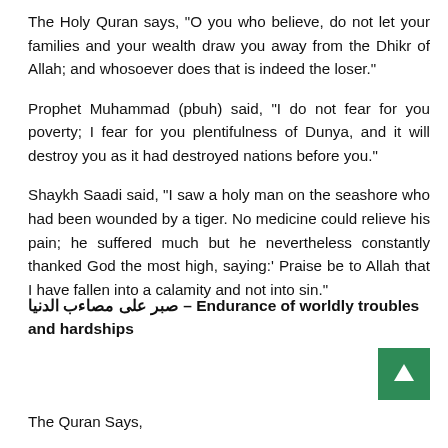The Holy Quran says, “O you who believe, do not let your families and your wealth draw you away from the Dhikr of Allah; and whosoever does that is indeed the loser.”
Prophet Muhammad (pbuh) said, “I do not fear for you poverty; I fear for you plentifulness of Dunya, and it will destroy you as it had destroyed nations before you.”
Shaykh Saadi said, “I saw a holy man on the seashore who had been wounded by a tiger. No medicine could relieve his pain; he suffered much but he nevertheless constantly thanked God the most high, saying: ‘Praise be to Allah that I have fallen into a calamity and not into sin.”
صبر على مصائب الدنيا – Endurance of worldly troubles and hardships
The Quran Says,